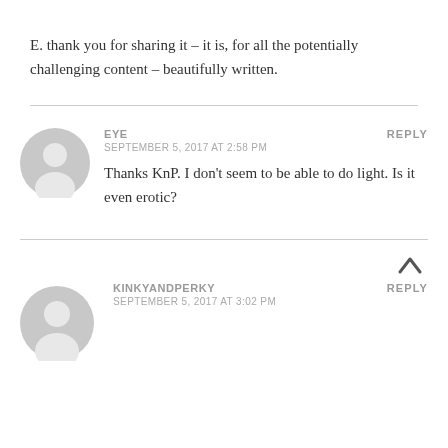E. thank you for sharing it – it is, for all the potentially challenging content – beautifully written.
EYE
SEPTEMBER 5, 2017 AT 2:58 PM
Thanks KnP. I don't seem to be able to do light. Is it even erotic?
KINKYANDPERKY
SEPTEMBER 5, 2017 AT 3:02 PM